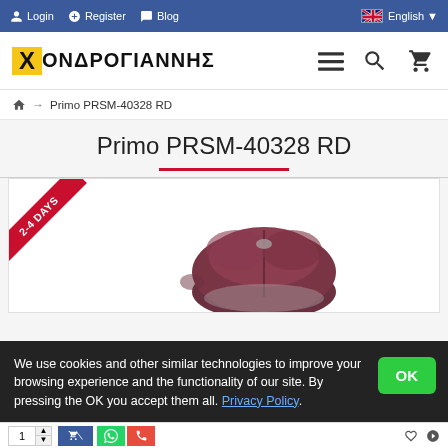Login  Register  Blog  English
[Figure (logo): ΧΟΝΔΡΟΓΙΑΝΝΗΣ logo with yellow X box and Greek text]
→ Primo PRSM-40328 RD
Primo PRSM-40328 RD
[Figure (photo): Product photo of Primo PRSM-40328 RD mouse with 2-4 DAYS delivery ribbon badge]
We use cookies and other similar technologies to improve your browsing experience and the functionality of our site. By pressing the OK you accept them all. Privacy Policy.